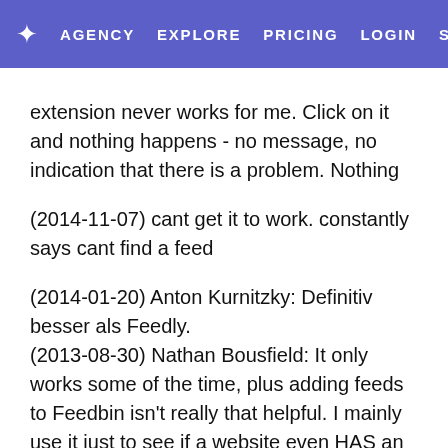★ AGENCY  EXPLORE  PRICING  LOGIN  SIGN-UP
extension never works for me. Click on it and nothing happens - no message, no indication that there is a problem. Nothing
(2014-11-07) cant get it to work. constantly says cant find a feed
(2014-01-20) Anton Kurnitzky: Definitiv besser als Feedly.
(2013-08-30) Nathan Bousfield: It only works some of the time, plus adding feeds to Feedbin isn't really that helpful. I mainly use it just to see if a website even HAS an RSS feed.
(2013-07-20) Great for us Feedbin users, thank you for this! My suggestion is that a small message should appear confirming that we have subscribed successfully. The previous reviewer complained that this extension subscribed him/her to every website. This did not happen